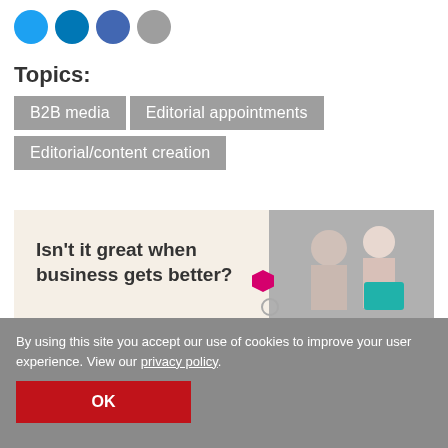[Figure (illustration): Four social media icon circles: Twitter (light blue), LinkedIn (dark blue), Facebook (medium blue), and a grey circle]
Topics:
B2B media
Editorial appointments
Editorial/content creation
[Figure (infographic): Gordon & Gotch advertisement banner with cream background. Text reads: Isn't it great when business gets better? Logo: Gordon&Gotch. Button: Discover Myriad. Photo of business people on right.]
By using this site you accept our use of cookies to improve your user experience. View our privacy policy.
OK